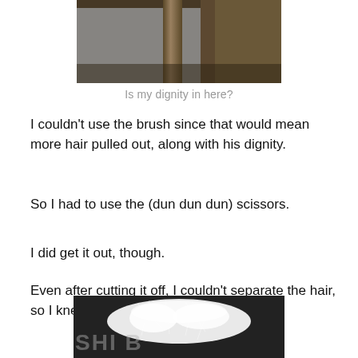[Figure (photo): Photo of what appears to be furniture legs or table legs viewed from below, dark background]
Is my dignity in here?
I couldn't use the brush since that would mean more hair pulled out, along with his dignity.
So I had to use the (dun dun dun) scissors.
I did get it out, though.
Even after cutting it off, I couldn't separate the hair, so I knew I'd made the right decision.
[Figure (photo): Photo of fluffy white hair/fur on a dark surface with partial text visible]